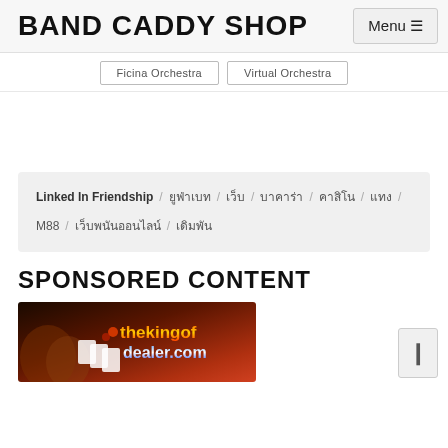BAND CADDY SHOP | Menu ☰
Ficina Orchestra | Virtual Orchestra
Linked In Friendship / ยูฟ่าเบท / เว็บ / บาคาร่า / คาสิโน / แทง / M88 / เว็บพนันออนไลน์ / เดิมพัน
SPONSORED CONTENT
[Figure (photo): Ad banner for thekingofdealer.com with colorful text on dark background with playing card imagery]